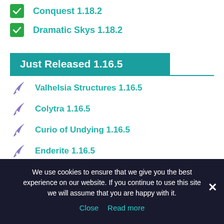Conquest 1.18.2
Dramatic Skys 1.18.2
Just Released 1.16.5
Valhelsia Structures 1.16.5
Colytra 1.16.5
Curio of Undying 1.16.5
Enderite 1.16.5
Router Reborn 1.16.5
We use cookies to ensure that we give you the best experience on our website. If you continue to use this site we will assume that you are happy with it.
Close  Read more